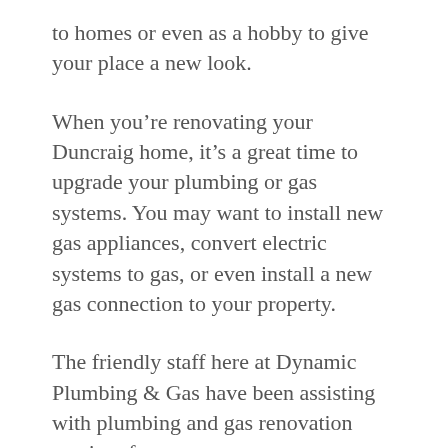to homes or even as a hobby to give your place a new look.
When you're renovating your Duncraig home, it's a great time to upgrade your plumbing or gas systems. You may want to install new gas appliances, convert electric systems to gas, or even install a new gas connection to your property.
The friendly staff here at Dynamic Plumbing & Gas have been assisting with plumbing and gas renovation services for many years, so we can help advise you on the best solutions and appliances for your needs. Our customers across Duncraig trust our licensed staff and their experience when it comes time to